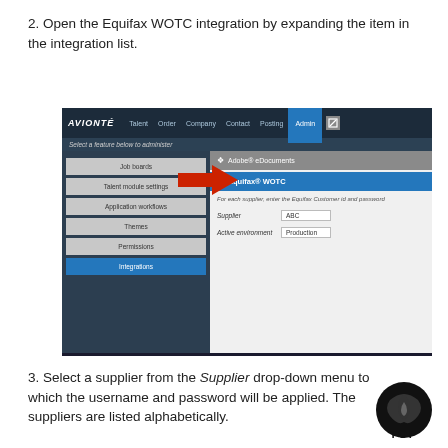2. Open the Equifax WOTC integration by expanding the item in the integration list.
[Figure (screenshot): Screenshot of the Avionté admin interface showing the Integrations menu selected in the left panel, with Equifax WOTC highlighted in the right panel. A red arrow points from 'Talent module settings' to the Equifax WOTC section. The supplier field shows 'ABC' and Active environment shows 'Production'.]
3. Select a supplier from the Supplier drop-down menu to which the username and password will be applied. The suppliers are listed alphabetically.